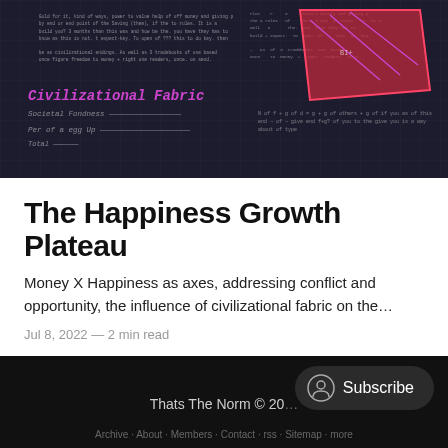[Figure (photo): Dark chalkboard-style image with handwritten notes, equations, and sketches in white chalk and purple/pink marker. A red and pink geometric shape (trapezoid/quadrilateral) is drawn on the right side. Purple handwritten text reads 'Civilizational Fabric' with additional notes below.]
The Happiness Growth Plateau
Money X Happiness as axes, addressing conflict and opportunity, the influence of civilizational fabric on the…
Jul 8, 2022 — 2 min read
Thats The Norm © 20…